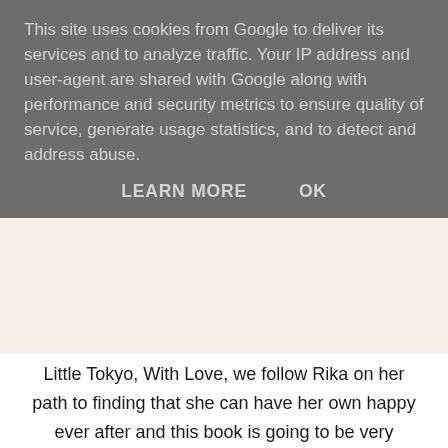This site uses cookies from Google to deliver its services and to analyze traffic. Your IP address and user-agent are shared with Google along with performance and security metrics to ensure quality of service, generate usage statistics, and to detect and address abuse.
LEARN MORE    OK
Little Tokyo, With Love, we follow Rika on her path to finding that she can have her own happy ever after and this book is going to be very special to all of the communities that are featured within this book.
As we follow Rika, without giving away too many spoilers, it discusses racism and discrimination as well as issues of abandonment and homophobia. One of the main characters in this book has panic attacks and as someone who has had them in the past and struggled with them for years, I thought it was